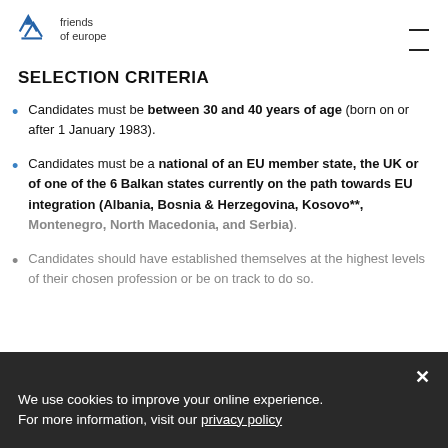friends of europe
SELECTION CRITERIA
Candidates must be between 30 and 40 years of age (born on or after 1 January 1983).
Candidates must be a national of an EU member state, the UK or of one of the 6 Balkan states currently on the path towards EU integration (Albania, Bosnia & Herzegovina, Kosovo**, Montenegro, North Macedonia, and Serbia).
Candidates should have established themselves at the highest levels of their chosen profession or be on track to do so.
We use cookies to improve your online experience. For more information, visit our privacy policy